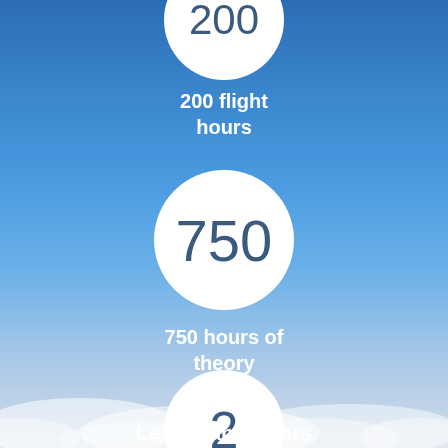[Figure (infographic): Circular infographic showing aviation training requirements: partially visible circle at top with 200 flight hours label, middle circle with 750 (750 hours of theory), bottom circle with 2 (Less than 2 years), all on a blue sky with clouds background.]
200 flight hours
750 hours of theory
Less than 2 years